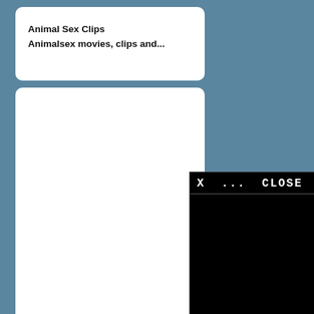Animal Sex Clips
Animalsex movies, clips and...
[Figure (screenshot): White card placeholder (blank content area)]
SeXX
Fuck your p...
[Figure (screenshot): Video player overlay with title bar showing 'X ... CLOSE FREE ZOO VIDEO', black video area with loading spinner, and playback controls showing 0:00 / 2:07]
[Figure (screenshot): White card placeholder (partial, bottom)]